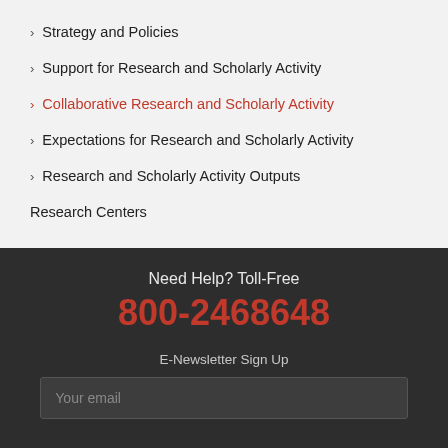Strategy and Policies
Support for Research and Scholarly Activity
Collaborative Research and Scholarly Activity
Expectations for Research and Scholarly Activity
Research and Scholarly Activity Outputs
Research Centers
Need Help? Toll-Free
800-2468648
E-Newsletter Sign Up
Your email